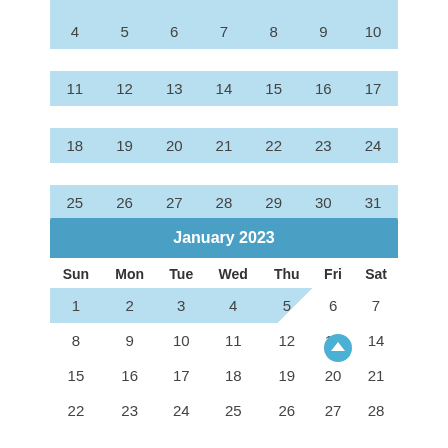| Sun | Mon | Tue | Wed | Thu | Fri | Sat |
| --- | --- | --- | --- | --- | --- | --- |
| 4 | 5 | 6 | 7 | 8 | 9 | 10 |
| 11 | 12 | 13 | 14 | 15 | 16 | 17 |
| 18 | 19 | 20 | 21 | 22 | 23 | 24 |
| 25 | 26 | 27 | 28 | 29 | 30 | 31 |
| Sun | Mon | Tue | Wed | Thu | Fri | Sat |
| --- | --- | --- | --- | --- | --- | --- |
| 1 | 2 | 3 | 4 | 5 | 6 | 7 |
| 8 | 9 | 10 | 11 | 12 | 13 | 14 |
| 15 | 16 | 17 | 18 | 19 | 20 | 21 |
| 22 | 23 | 24 | 25 | 26 | 27 | 28 |